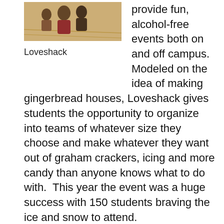[Figure (photo): A photograph of people inside a building, likely at the Loveshack event, with a warm indoor background.]
Loveshack
provide fun, alcohol-free events both on and off campus. Modeled on the idea of making gingerbread houses, Loveshack gives students the opportunity to organize into teams of whatever size they choose and make whatever they want out of graham crackers, icing and more candy than anyone knows what to do with.  This year the event was a huge success with 150 students braving the ice and snow to attend.
Some of the creations were Haverford-centric, such as miniature models of the Duck Pond, apartment 26 in the Haverford College Apartments and numerous replicas of squirrels. Others went with the Valentine’s Day theme and created hearts and heart-shaped buildings.  (The crowning achievement in this category was undoubtedly the “Prison of Love,” which